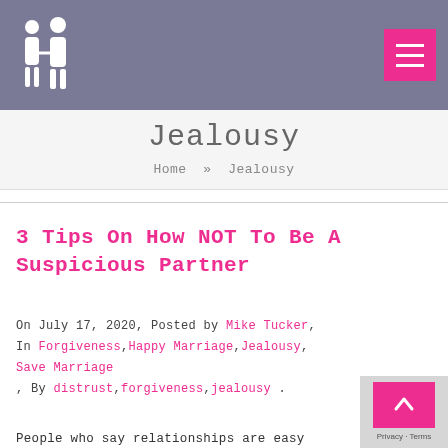Jealousy
Home » Jealousy
3 Tips On How NOT To Be A Suspicious Partner
On July 17, 2020, Posted by Mike Tucker, In Forgiveness,Happy Marriage,Jealousy, Save Marriage , By distrust,forgiveness,jealousy .
People who say relationships are easy